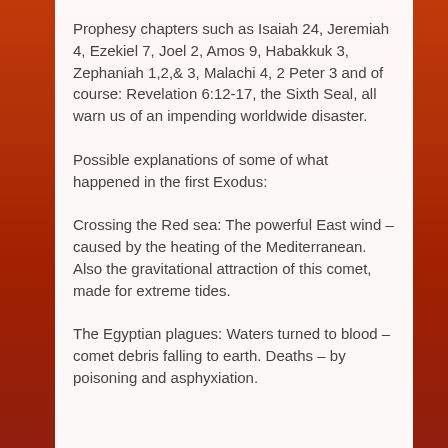Prophesy chapters such as Isaiah 24, Jeremiah 4, Ezekiel 7, Joel 2, Amos 9, Habakkuk 3, Zephaniah 1,2,& 3, Malachi 4, 2 Peter 3 and of course: Revelation 6:12-17, the Sixth Seal, all warn us of an impending worldwide disaster.
Possible explanations of some of what happened in the first Exodus:
Crossing the Red sea: The powerful East wind – caused by the heating of the Mediterranean.  Also the gravitational attraction of this comet, made for extreme tides.
The Egyptian plagues: Waters turned to blood – comet debris falling to earth. Deaths – by poisoning and asphyxiation.